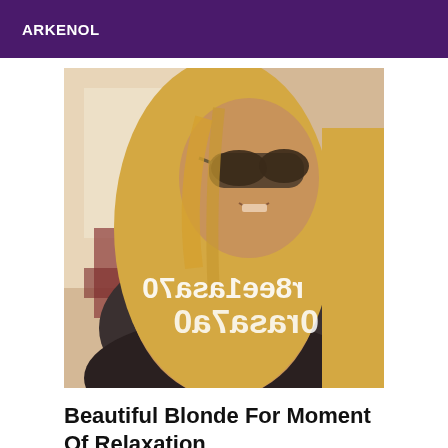ARKENOL
[Figure (photo): A blonde woman wearing sunglasses and a dark top taking a selfie. Mirrored/reversed text watermark visible on the image reading a phone number.]
Beautiful Blonde For Moment Of Relaxation